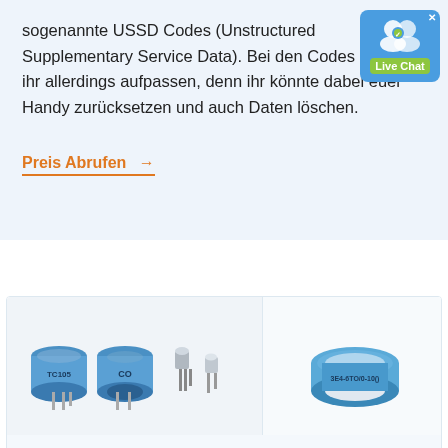sogenannte USSD Codes (Unstructured Supplementary Service Data). Bei den Codes müsst ihr allerdings aufpassen, denn ihr könnte dabei euer Handy zurücksetzen und auch Daten löschen.
Preis Abrufen →
[Figure (photo): Product photo showing electronic sensors: two blue cylindrical components labelled TC105 and CO on the left, two small metal transistor-style components in the middle, and one blue ring-shaped sensor component labelled 3E4-6TO/0-10() on the right against a white/light background.]
Annäherungssensor Ein/Ausschalten Xiaomi [Android